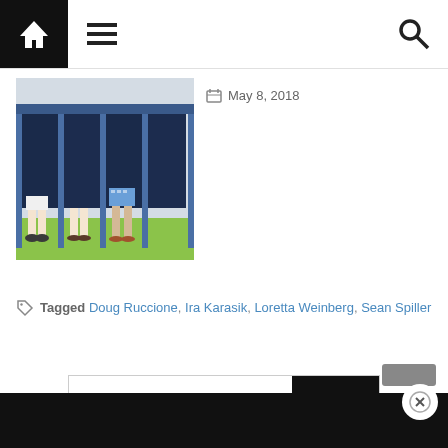Navigation bar with home, menu, and search icons
[Figure (photo): Photo of people standing at voting booths, legs and feet visible below navy blue curtains, green floor]
May 8, 2018
Tagged Doug Ruccione, Ira Karasik, Loretta Weinberg, Sean Spiller
Enter your email address  Signup
Dark footer bar